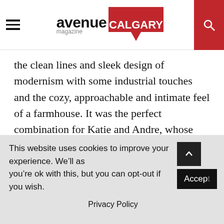avenue magazine CALGARY
the clean lines and sleek design of modernism with some industrial touches and the cozy, approachable and intimate feel of a farmhouse. It was the perfect combination for Katie and Andre, whose favourite styles are modern and rustic, respectively. “The modern farmhouse felt like a perfect complement for us because we get a mix of both,” Katie says.
The two couches in the main living room are an embodiment of this combination of styles: the cognac-coloured leather couch, found at a Las Vegas market, represents Andre’s style, while the cream tufted couch
This website uses cookies to improve your experience. We’ll as you’re ok with this, but you can opt-out if you wish.
Privacy Policy